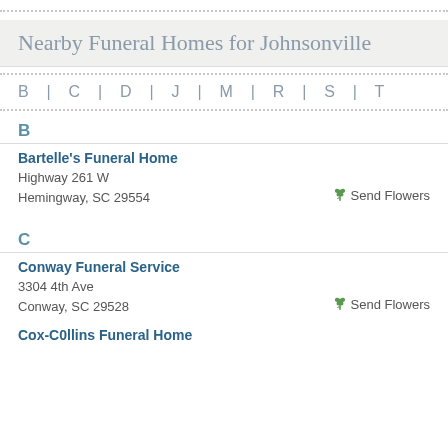Nearby Funeral Homes for Johnsonville
B | C | D | J | M | R | S | T
B
Bartelle's Funeral Home
Highway 261 W
Hemingway, SC 29554
C
Conway Funeral Service
3304 4th Ave
Conway, SC 29528
Cox-C0llins Funeral Home